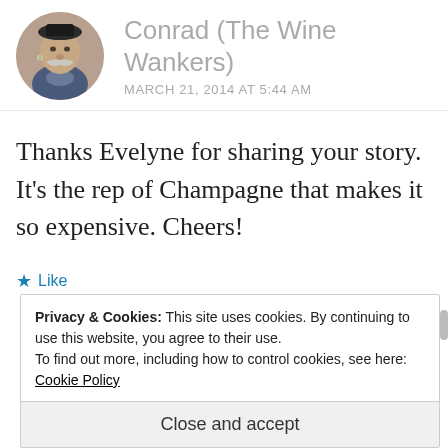[Figure (photo): Circular avatar photo of a man with a large mustache wearing a hat and earring]
Conrad (The Wine Wankers)
MARCH 21, 2014 AT 5:44 AM
Thanks Evelyne for sharing your story. It's the rep of Champagne that makes it so expensive. Cheers!
★ Like
Privacy & Cookies: This site uses cookies. By continuing to use this website, you agree to their use.
To find out more, including how to control cookies, see here: Cookie Policy
Close and accept